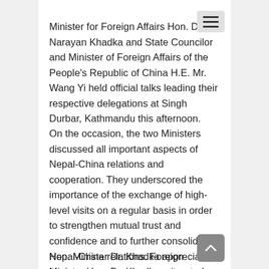Minister for Foreign Affairs Hon. Dr. Narayan Khadka and State Councilor and Minister of Foreign Affairs of the People's Republic of China H.E. Mr. Wang Yi held official talks leading their respective delegations at Singh Durbar, Kathmandu this afternoon.
On the occasion, the two Ministers discussed all important aspects of Nepal-China relations and cooperation. They underscored the importance of the exchange of high-level visits on a regular basis in order to strengthen mutual trust and confidence and to further consolidate Nepal-China relations. Foreign Minister Hon. Dr. Khadka reiterated Nepal's commitment to One China policy and not to allow any activity against China in Nepali territory. Both sides reaffirmed their support for sovereignty, territorial integrity, and national independence of each other.
Hon. Minister Dr. Khadka appreciated the